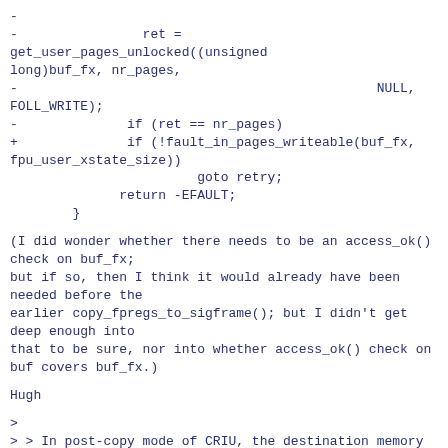-
-                ret = get_user_pages_unlocked((unsigned long)buf_fx, nr_pages,
-                                               NULL, FOLL_WRITE);
-              if (ret == nr_pages)
+              if (!fault_in_pages_writeable(buf_fx, fpu_user_xstate_size))
                        goto retry;
              return -EFAULT;
        }
(I did wonder whether there needs to be an access_ok() check on buf_fx;
but if so, then I think it would already have been needed before the
earlier copy_fpregs_to_sigframe(); but I didn't get deep enough into
that to be sure, nor into whether access_ok() check on buf covers buf_fx.)
Hugh
>
> > In post-copy mode of CRIU, the destination memory is managed with
> > > userfaultfd and lack of the retry for pre-fault case in get_user_pages()
> > > causes a crash of the restored process.
> > >